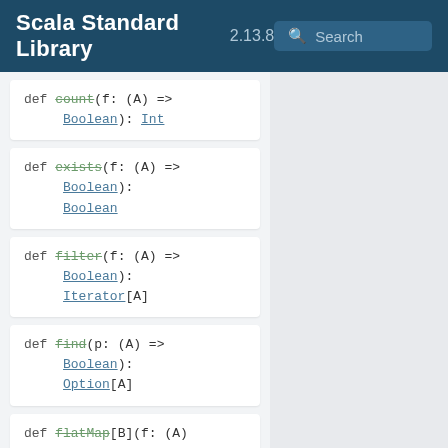Scala Standard Library 2.13.8 Search
def count(f: (A) => Boolean): Int
def exists(f: (A) => Boolean): Boolean
def filter(f: (A) => Boolean): Iterator[A]
def find(p: (A) => Boolean): Option[A]
def flatMap[B](f: (A) => IterableOnce[B]): IterableOnce[B]
def fold[A1 >: A](z: A1)(op: (A1, A1) => A1): A1